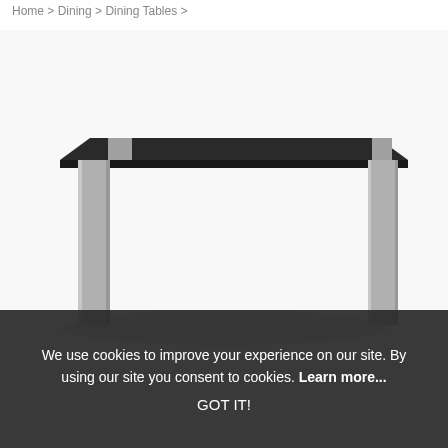Home > Dining > Dining Tables >
[Figure (photo): A modern dining table with a dark black glass top and silver/grey metal square legs, photographed on a white background from a three-quarter angle.]
We use cookies to improve your experience on our site. By using our site you consent to cookies. Learn more...
GOT IT!